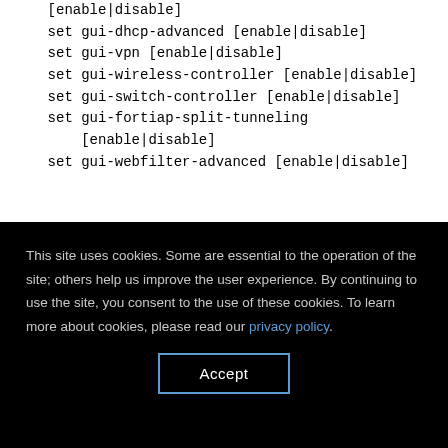[enable|disable]
    set gui-dhcp-advanced [enable|disable]
    set gui-vpn [enable|disable]
    set gui-wireless-controller [enable|disable]
    set gui-switch-controller [enable|disable]
    set gui-fortiap-split-tunneling
        [enable|disable]
    set gui-webfilter-advanced [enable|disable]
This site uses cookies. Some are essential to the operation of the site; others help us improve the user experience. By continuing to use the site, you consent to the use of these cookies. To learn more about cookies, please read our privacy policy.